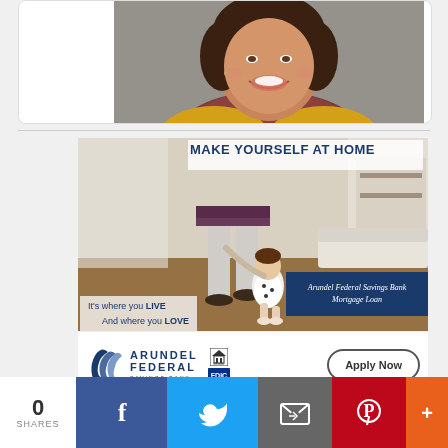[Figure (photo): Partial view of a smiling woman with dark hair wearing a yellow cardigan, photo card with white background and rounded corners]
[Figure (illustration): Arundel Federal Savings Bank advertisement banner showing a parent and toddler walking in a bright living room. Text reads: MAKE YOURSELF AT HOME, Arundel Federal Savings Bank Mortgage Loan, It's where you LIVE And where you LOVE. Logo of Arundel Federal Savings Bank with FDIC member icons and Apply Now button.]
0
SHARES
[Figure (logo): Social share bar with Facebook, Twitter, Email, Pinterest, and More (+) buttons]